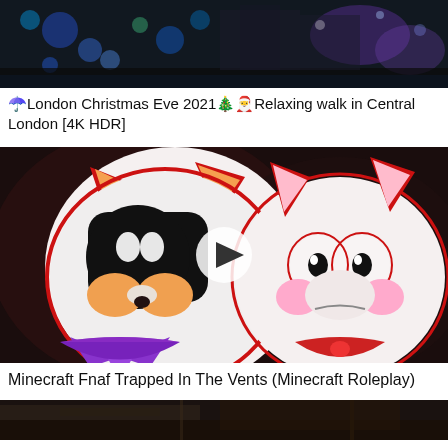[Figure (screenshot): Top portion of a video thumbnail showing a dark nighttime city street with colorful lights (blue, purple, green) and a crowd scene — appears to be a London Christmas Eve walk video. Only the bottom portion of the thumbnail is visible.]
☂️London Christmas Eve 2021🎄🎅Relaxing walk in Central London [4K HDR]
[Figure (screenshot): Video thumbnail showing cartoon animated characters from Five Nights at Freddy's (FNAF) — two white fox characters with large dark eyes, orange accents, and bow ties (one purple, one red). A circular play button overlay is visible in the center. Dark background.]
Minecraft Fnaf Trapped In The Vents (Minecraft Roleplay)
[Figure (screenshot): Partial thumbnail at the bottom of the page showing a dark indoor scene, appears to be a room or vent interior — only the top portion is visible.]